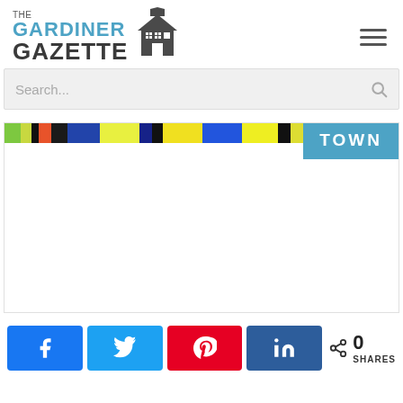[Figure (logo): The Gardiner Gazette newspaper logo with house icon]
Search...
[Figure (photo): Colorful abstract/artistic strip banner image with TOWN badge overlay]
TOWN
0 SHARES